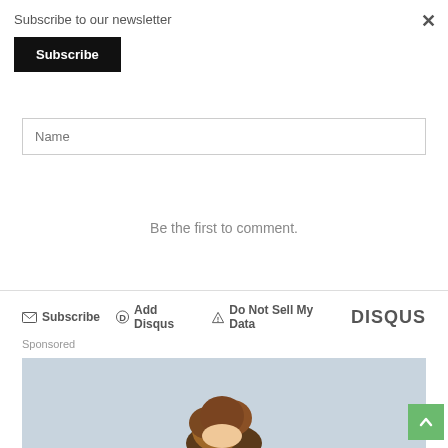Subscribe to our newsletter
Subscribe
Name
Be the first to comment.
Subscribe  Add Disqus  Do Not Sell My Data  DISQUS
Sponsored
[Figure (photo): Sponsored content photo showing a person with curly hair against a light grey sky background]